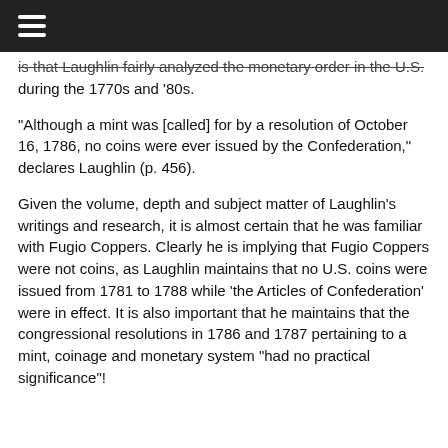☰
is that Laughlin fairly analyzed the monetary order in the U.S. during the 1770s and '80s.
“Although a mint was [called] for by a resolution of October 16, 1786, no coins were ever issued by the Confederation,” declares Laughlin (p. 456).
Given the volume, depth and subject matter of Laughlin's writings and research, it is almost certain that he was familiar with Fugio Coppers. Clearly he is implying that Fugio Coppers were not coins, as Laughlin maintains that no U.S. coins were issued from 1781 to 1788 while ‘the Articles of Confederation’ were in effect. It is also important that he maintains that the congressional resolutions in 1786 and 1787 pertaining to a mint, coinage and monetary system “had no practical significance”!